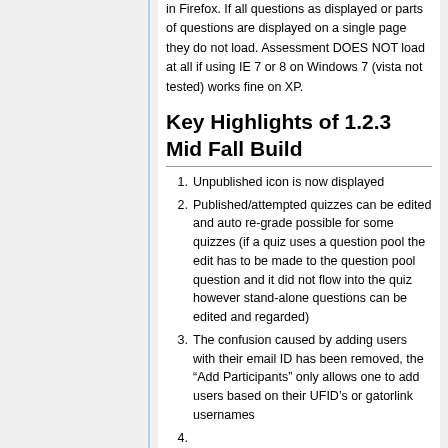in Firefox. If all questions as displayed or parts of questions are displayed on a single page they do not load. Assessment DOES NOT load at all if using IE 7 or 8 on Windows 7 (vista not tested) works fine on XP.
Key Highlights of 1.2.3 Mid Fall Build
Unpublished icon is now displayed
Published/attempted quizzes can be edited and auto re-grade possible for some quizzes (if a quiz uses a question pool the edit has to be made to the question pool question and it did not flow into the quiz however stand-alone questions can be edited and regarded)
The confusion caused by adding users with their email ID has been removed, the “Add Participants” only allows one to add users based on their UFID’s or gatorlink usernames